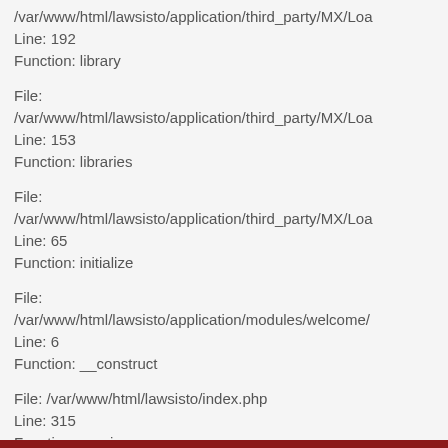/var/www/html/lawsisto/application/third_party/MX/Loa
Line: 192
Function: library
File:
/var/www/html/lawsisto/application/third_party/MX/Loa
Line: 153
Function: libraries
File:
/var/www/html/lawsisto/application/third_party/MX/Loa
Line: 65
Function: initialize
File:
/var/www/html/lawsisto/application/modules/welcome/
Line: 6
Function: __construct
File: /var/www/html/lawsisto/index.php
Line: 315
Function: require_once